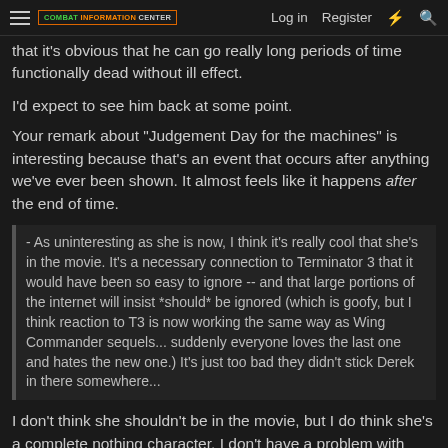COMBAT INFORMATION CENTER — Log in  Register
that it's obvious that he can go really long periods of time functionally dead without ill effect.
I'd expect to see him back at some point.
Your remark about "Judgement Day for the machines" is interesting because that's an event that occurs after anything we've ever been shown. It almost feels like it happens after the end of time.
- As uninteresting as she is now, I think it's really cool that she's in the movie. It's a necessary connection to Terminator 3 that it would have been so easy to ignore -- and that large portions of the internet will insist *should* be ignored (which is goofy, but I think reaction to T3 is now working the same way as Wing Commander sequels... suddenly everyone loves the last one and hates the new one.) It's just too bad they didn't stick Derek in there somewhere...
I don't think she shouldn't be in the movie, but I do think she's a complete nothing character. I don't have a problem with this, it's just there. I don't see her ever becoming really interesting.